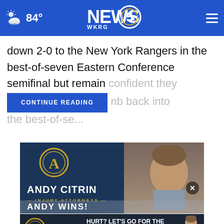84° NEWS 5 WKRG
down 2-0 to the New York Rangers in the best-of-seven Eastern Conference semifinal but remain confident they [CONTINUE READING] climb back into the best-of-se...
[Figure (photo): Andy Citrin Injury Attorneys advertisement showing a man in a suit with the Andy Citrin logo (gold A in a circle) and text 'ANDY CITRIN INJURY ATTORNEYS' and 'ANDY WINS!']
[Figure (photo): Andy Citrin bottom banner ad: 'HURT? LET'S GO FOR THE WIN! ANDY WINS! 251-888-8888' with logo and photo of attorney]